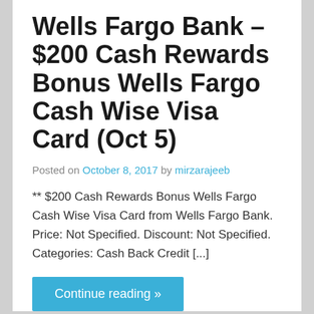Wells Fargo Bank – $200 Cash Rewards Bonus Wells Fargo Cash Wise Visa Card (Oct 5)
Posted on October 8, 2017 by mirzarajeeb
** $200 Cash Rewards Bonus Wells Fargo Cash Wise Visa Card from Wells Fargo Bank. Price: Not Specified. Discount: Not Specified. Categories: Cash Back Credit [...]
Continue reading »
Cash Back Credit Cards, Visa Credit Cards   0
NIH FCU Visa Platinum Credit Card (Aug 16)